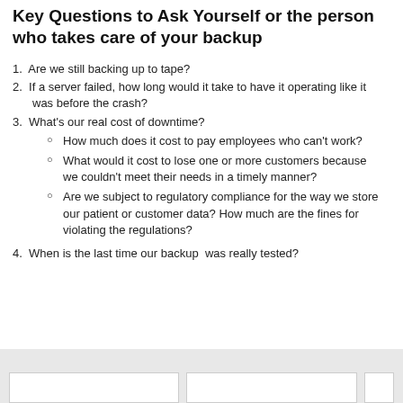Key Questions to Ask Yourself or the person who takes care of your backup
1. Are we still backing up to tape?
2. If a server failed, how long would it take to have it operating like it was before the crash?
3. What's our real cost of downtime?
How much does it cost to pay employees who can't work?
What would it cost to lose one or more customers because we couldn't meet their needs in a timely manner?
Are we subject to regulatory compliance for the way we store our patient or customer data? How much are the fines for violating the regulations?
4. When is the last time our backup  was really tested?